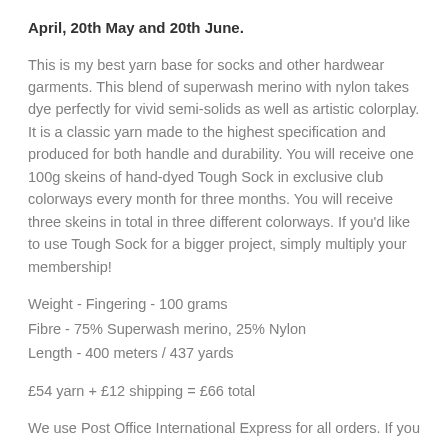April, 20th May and 20th June.
This is my best yarn base for socks and other hardwear garments. This blend of superwash merino with nylon takes dye perfectly for vivid semi-solids as well as artistic colorplay. It is a classic yarn made to the highest specification and produced for both handle and durability. You will receive one 100g skeins of hand-dyed Tough Sock in exclusive club colorways every month for three months. You will receive three skeins in total in three different colorways. If you'd like to use Tough Sock for a bigger project, simply multiply your membership!
Weight - Fingering - 100 grams
Fibre - 75% Superwash merino, 25% Nylon
Length - 400 meters / 437 yards
£54 yarn + £12 shipping = £66 total
We use Post Office International Express for all orders. If you